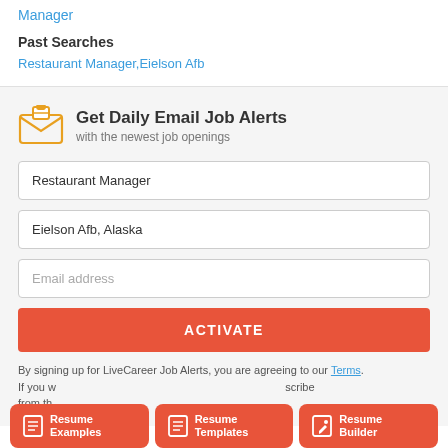Manager
Past Searches
Restaurant Manager,Eielson Afb
Get Daily Email Job Alerts
with the newest job openings
Restaurant Manager
Eielson Afb, Alaska
Email address
ACTIVATE
By signing up for LiveCareer Job Alerts, you are agreeing to our Terms. If you w ... scribe from th
Resume Examples
Resume Templates
Resume Builder